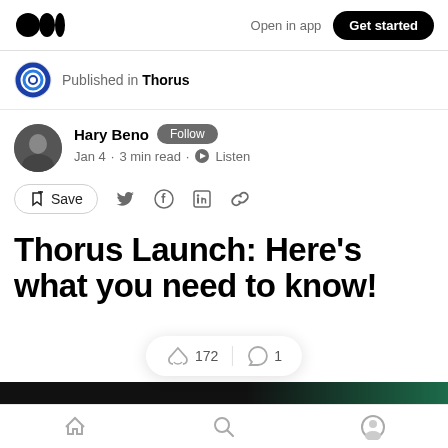Open in app  Get started
Published in Thorus
Hary Beno  Follow  Jan 4 · 3 min read · Listen
Save
Thorus Launch: Here's what you need to know!
172  1
Home  Search  Profile